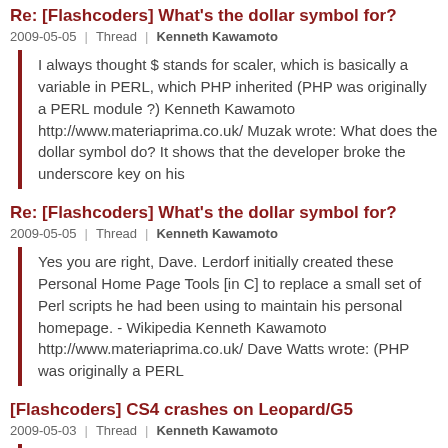Re: [Flashcoders] What's the dollar symbol for?
2009-05-05 | Thread | Kenneth Kawamoto
I always thought $ stands for scaler, which is basically a variable in PERL, which PHP inherited (PHP was originally a PERL module ?) Kenneth Kawamoto http://www.materiaprima.co.uk/ Muzak wrote: What does the dollar symbol do? It shows that the developer broke the underscore key on his
Re: [Flashcoders] What's the dollar symbol for?
2009-05-05 | Thread | Kenneth Kawamoto
Yes you are right, Dave. Lerdorf initially created these Personal Home Page Tools [in C] to replace a small set of Perl scripts he had been using to maintain his personal homepage. - Wikipedia Kenneth Kawamoto http://www.materiaprima.co.uk/ Dave Watts wrote: (PHP was originally a PERL
[Flashcoders] CS4 crashes on Leopard/G5
2009-05-03 | Thread | Kenneth Kawamoto
Intel. Needless to say, needless because these things only happens on deadlines, I have this deadline so any insights are appreciated! TIA. Kenneth. -- Kenneth Kawamoto